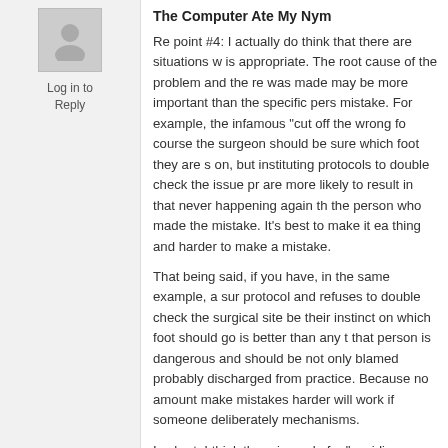[Figure (illustration): Generic user avatar icon, grey silhouette of a person on light grey background]
Log in to Reply
The Computer Ate My Nym
Re point #4: I actually do think that there are situations w... is appropriate. The root cause of the problem and the re... was made may be more important than the specific pers... mistake. For example, the infamous "cut off the wrong fo... course the surgeon should be sure which foot they are s... on, but instituting protocols to double check the issue pr... are more likely to result in that never happening again th... the person who made the mistake. It's best to make it ea... thing and harder to make a mistake.
That being said, if you have, in the same example, a sur... protocol and refuses to double check the surgical site be... their instinct on which foot should go is better than any t... that person is dangerous and should be not only blamed... probably discharged from practice. Because no amount... make mistakes harder will work if someone deliberately... mechanisms.
In short, I think there is a role for “avoiding blame” but I t... are badly abusing the concept.